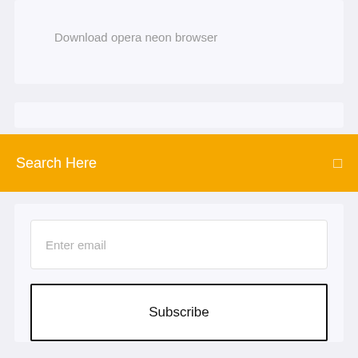Download opera neon browser
Search Here
Enter email
Subscribe